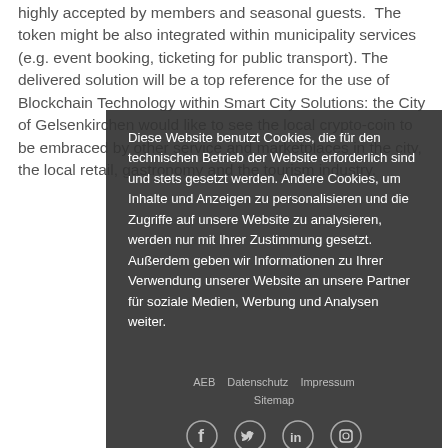highly accepted by members and seasonal guests. The token might be also integrated within municipality services (e.g. event booking, ticketing for public transport). The delivered solution will be a top reference for the use of Blockchain Technology within Smart City Solutions: the City of Gelsenkirchen would like to see the local crypto-coin to be embraced by other service and marketplaces in the city, the local retail, gastronomy and the tourism industry.
Diese Website benutzt Cookies, die für den technischen Betrieb der Website erforderlich sind und stets gesetzt werden. Andere Cookies, um Inhalte und Anzeigen zu personalisieren und die Zugriffe auf unsere Website zu analysieren, werden nur mit Ihrer Zustimmung gesetzt. Außerdem geben wir Informationen zu Ihrer Verwendung unserer Website an unsere Partner für soziale Medien, Werbung und Analysen weiter.
AGB   Datenschutz   Impressum   Sitemap
[Figure (other): Social media icons: Facebook, Twitter, LinkedIn, Instagram]
Cookies zulassen!